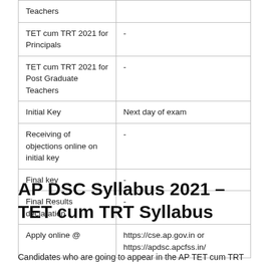| Event | Date |
| --- | --- |
| Teachers |  |
| TET cum TRT 2021 for Principals | - |
| TET cum TRT 2021 for Post Graduate Teachers | - |
| Initial Key | Next day of exam |
| Receiving of objections online on initial key | - |
| Final key | - |
| Final Results declaration | - |
| Apply online @ | https://cse.ap.gov.in or https://apdsc.apcfss.in/ |
AP DSC Syllabus 2021 – TET cum TRT Syllabus
Candidates who are going to appear in the AP TET cum TRT